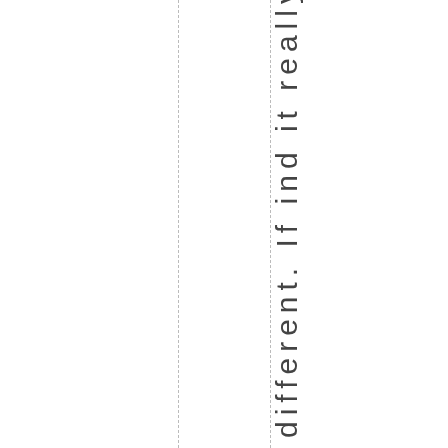different. If ind it really yan